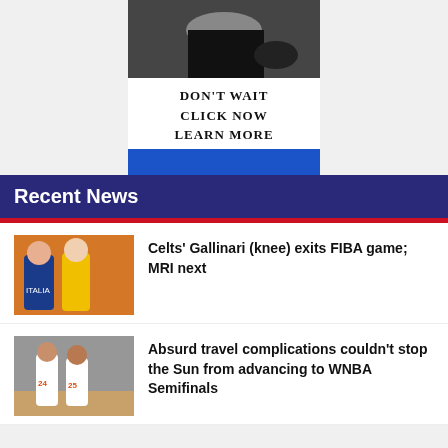[Figure (photo): Advertisement banner with fitness/body photo, text 'DON'T WAIT CLICK NOW LEARN MORE' and a blue button below]
Recent News
[Figure (photo): Basketball players in a game, Italy jersey visible]
Celts' Gallinari (knee) exits FIBA game; MRI next
[Figure (photo): WNBA players on court, jerseys with number 24 and 25 visible]
Absurd travel complications couldn't stop the Sun from advancing to WNBA Semifinals